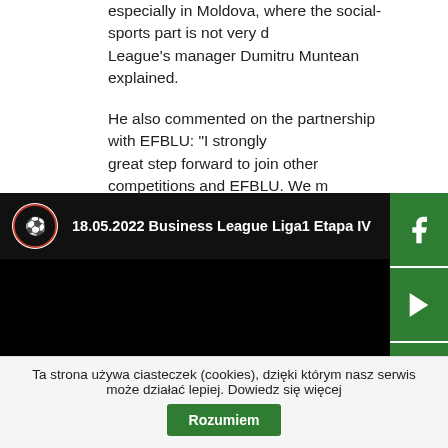especially in Moldova, where the social-sports part is not very developed, League's manager Dumitru Muntean explained.
He also commented on the partnership with EFBLU: "I strongly believe it's a great step forward to join other competitions and EFBLU. We need to develop corporate football in the world."
[Figure (screenshot): YouTube video thumbnail showing '18.05.2022 Business League Liga1 Etapa IV' with a circular logo on the left and white title text on dark background.]
Ta strona używa ciasteczek (cookies), dzięki którym nasz serwis może działać lepiej. Dowiedz się więcej